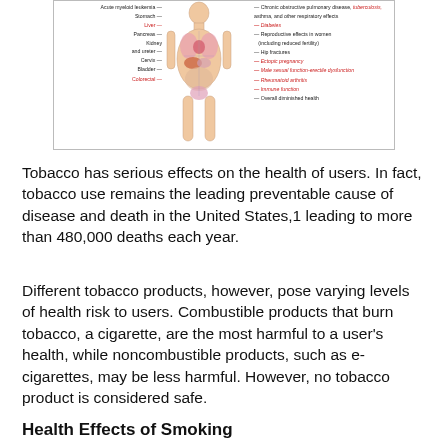[Figure (illustration): Anatomical diagram of the human body showing health effects of tobacco use, with labels pointing to various organs and conditions on the left and right sides. Left labels include: Acute myeloid leukemia, Stomach, Liver, Pancreas, Kidney and ureter, Cervix, Bladder, Colorectal. Right labels include: Chronic obstructive pulmonary disease, tuberculosis, asthma, and other respiratory effects, Diabetes, Reproductive effects in women (including reduced fertility), Hip fractures, Ectopic pregnancy, Male sexual function-erectile dysfunction, Rheumatoid arthritis, Immune function, Overall diminished health.]
Tobacco has serious effects on the health of users. In fact, tobacco use remains the leading preventable cause of disease and death in the United States,1 leading to more than 480,000 deaths each year.
Different tobacco products, however, pose varying levels of health risk to users. Combustible products that burn tobacco, a cigarette, are the most harmful to a user's health, while noncombustible products, such as e-cigarettes, may be less harmful. However, no tobacco product is considered safe.
Health Effects of Smoking